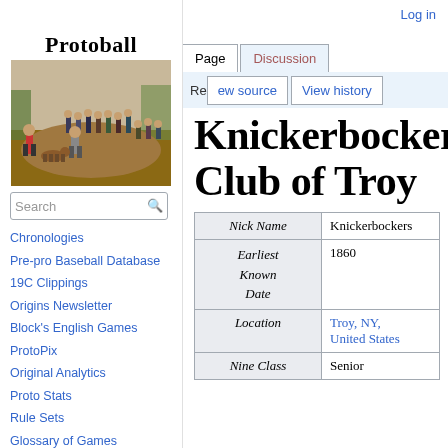Log in
[Figure (logo): Protoball logo with vintage baseball game illustration showing players on a field]
Page | Discussion | Re... ew source | View history
Knickerbocker Club of Troy
Search
Chronologies
Pre-pro Baseball Database
19C Clippings
Origins Newsletter
Block's English Games
ProtoPix
Original Analytics
Proto Stats
Rule Sets
Glossary of Games
Bibliography
| Field | Value |
| --- | --- |
| Nick Name | Knickerbockers |
| Earliest Known Date | 1860 |
| Location | Troy, NY, United States |
| Nine Class | Senior |